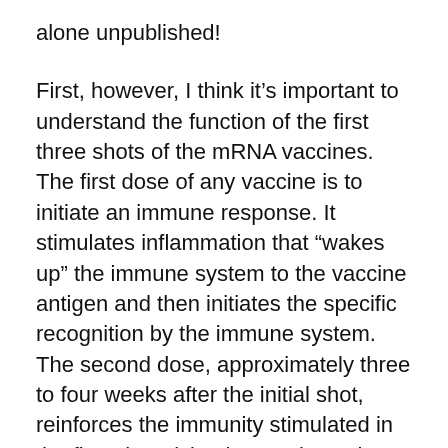alone unpublished!
First, however, I think it’s important to understand the function of the first three shots of the mRNA vaccines. The first dose of any vaccine is to initiate an immune response. It stimulates inflammation that “wakes up” the immune system to the vaccine antigen and then initiates the specific recognition by the immune system. The second dose, approximately three to four weeks after the initial shot, reinforces the immunity stimulated in the first shot giving it more intensity and longer persistence.
The third, or booster shot, has a very different function. It reawakens the immune response in a way that causes it to broaden and become much